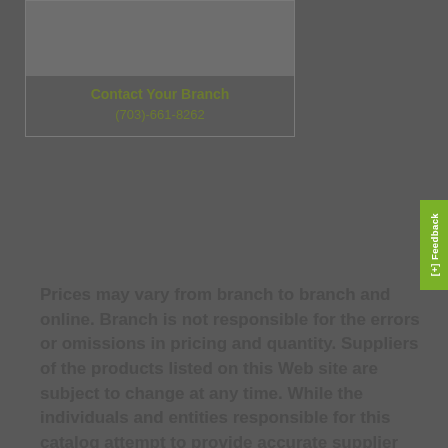[Figure (other): Gray box area at top of card, part of branch contact card]
Contact Your Branch
(703)-661-8262
[Figure (other): Green feedback tab on right side reading '[+] Feedback']
Prices may vary from branch to branch and online. Branch is not responsible for the errors or omissions in pricing and quantity. Suppliers of the products listed on this Web site are subject to change at any time. While the individuals and entities responsible for this catalog attempt to provide accurate supplier information, for these reasons and others, the suppliers noted may not be the supplier of the product ultimately sold to...